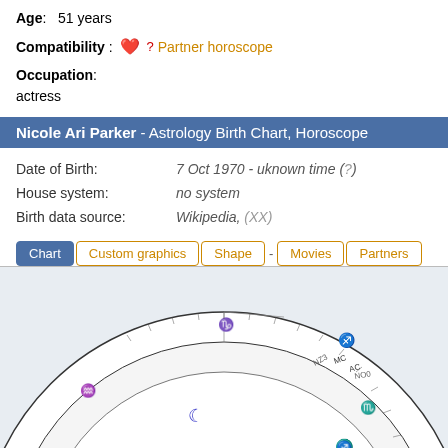Age: 51 years
Compatibility: ❤? Partner horoscope
Occupation: actress
Nicole Ari Parker - Astrology Birth Chart, Horoscope
Date of Birth: 7 Oct 1970 - uknown time (?)
House system: no system
Birth data source: Wikipedia, (XX)
Chart | Custom graphics | Shape | - | Movies | Partners
[Figure (other): Astrology birth chart wheel showing zodiac signs, planetary symbols including Moon, Neptune, Venus, Jupiter, Sun, Mercury, and various aspect lines (red, blue, green) connecting planetary positions. Chart is cropped showing upper and middle portions of the wheel.]